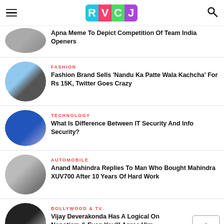RVCJ
Apna Meme To Depict Competition Of Team India Openers
FASHION
Fashion Brand Sells 'Nandu Ka Patte Wala Kachcha' For Rs 15K, Twitter Goes Crazy
TECHNOLOGY
What Is Difference Between IT Security And Info Security?
AUTOMOBILE
Anand Mahindra Replies To Man Who Bought Mahindra XUV700 After 10 Years Of Hard Work
BOLLYWOOD & TV
Vijay Deverakonda Has A Logical On Nepotism & Even You'll Agree Him